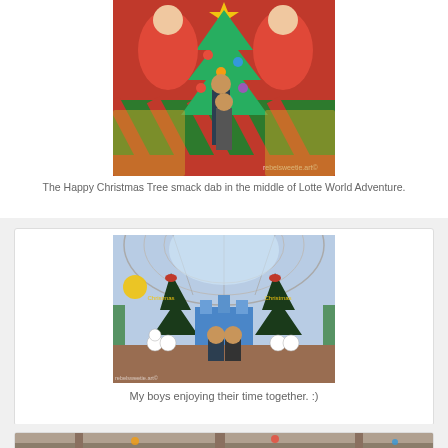[Figure (photo): Two children standing in front of a large decorative Happy Christmas Tree display at Lotte World Adventure. The tree is colorful with ornaments, cartoon characters, and a yellow star on top. The children are wearing winter jackets.]
The Happy Christmas Tree smack dab in the middle of Lotte World Adventure.
[Figure (photo): Two boys sitting in front of a Christmas display with two decorated Christmas trees and a colorful castle backdrop inside Lotte World. The indoor atrium has a large glass dome ceiling visible above.]
My boys enjoying their time together. :)
[Figure (photo): Partial view of another photo at Lotte World, showing the bottom portion of another scene with decorations.]